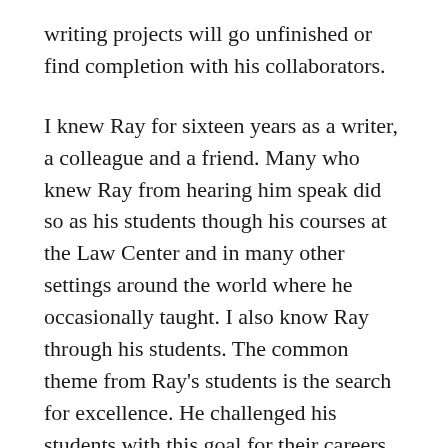writing projects will go unfinished or find completion with his collaborators.
I knew Ray for sixteen years as a writer, a colleague and a friend. Many who knew Ray from hearing him speak did so as his students though his courses at the Law Center and in many other settings around the world where he occasionally taught. I also know Ray through his students. The common theme from Ray's students is the search for excellence. He challenged his students with this goal for their careers, not merely during law school. He exemplified the challenge with his accomplishments as a writer, lawyer, law professor, and law school